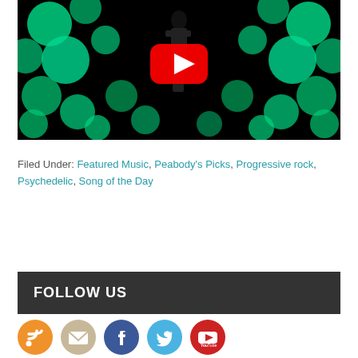[Figure (screenshot): YouTube video thumbnail showing a person in black outfit surrounded by glowing green sequin/bokeh circles on a dark background, with a red YouTube play button overlay in the center]
Filed Under: Featured Music, Peabody's Picks, Progressive rock, Psychedelic, Song of the Day
FOLLOW US
[Figure (illustration): Row of social media icon circles: RSS (orange), Email (tan/beige), Facebook (blue), Twitter (light blue), YouTube (red)]